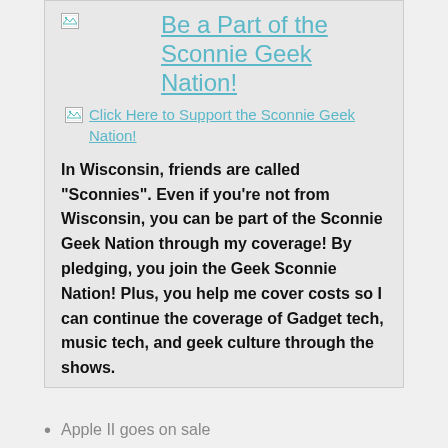[Figure (other): Broken image icon placeholder (small, top-left of card)]
Be a Part of the Sconnie Geek Nation!
[Figure (other): Broken image icon for support link]
Click Here to Support the Sconnie Geek Nation!
In Wisconsin, friends are called "Sconnies". Even if you're not from Wisconsin, you can be part of the Sconnie Geek Nation through my coverage! By pledging, you join the Geek Sconnie Nation! Plus, you help me cover costs so I can continue the coverage of Gadget tech, music tech, and geek culture through the shows.
Apple II goes on sale